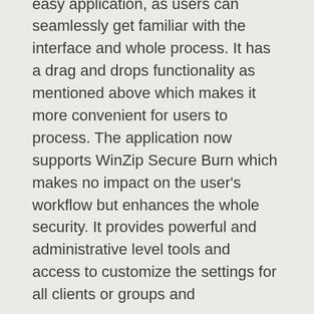Roxio Secure Burn is a simple and easy application, as users can seamlessly get familiar with the interface and whole process. It has a drag and drops functionality as mentioned above which makes it more convenient for users to process. The application now supports WinZip Secure Burn which makes no impact on the user's workflow but enhances the whole security. It provides powerful and administrative level tools and access to customize the settings for all clients or groups and